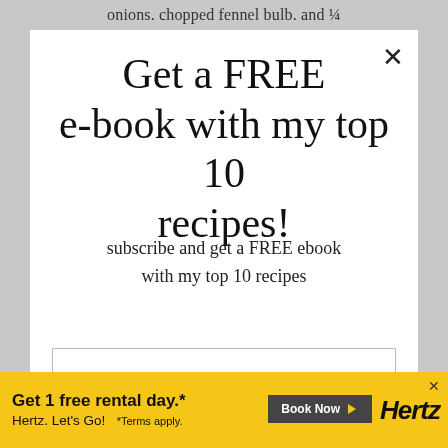onions. chopped fennel bulb. and ¼
Get a FREE e-book with my top 10 recipes!
subscribe and get a FREE ebook with my top 10 recipes
First name
Email address
COUNT ME IN!
[Figure (screenshot): Hertz advertisement banner: 'Get 1 free rental day.* Book Now. Hertz. Let's Go! *Terms apply.']